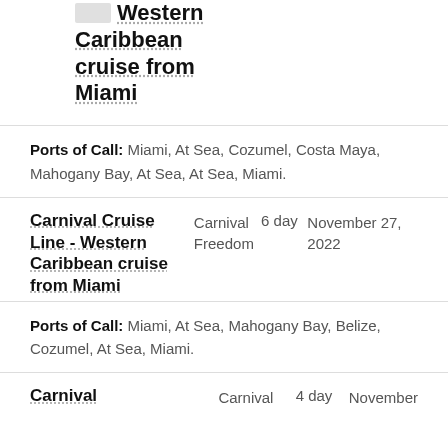Western Caribbean cruise from Miami
Ports of Call: Miami, At Sea, Cozumel, Costa Maya, Mahogany Bay, At Sea, At Sea, Miami.
Carnival Cruise Line - Western Caribbean cruise from Miami
Carnival Freedom  6 day  November 27, 2022
Ports of Call: Miami, At Sea, Mahogany Bay, Belize, Cozumel, At Sea, Miami.
Carnival
Carnival  4 day  November